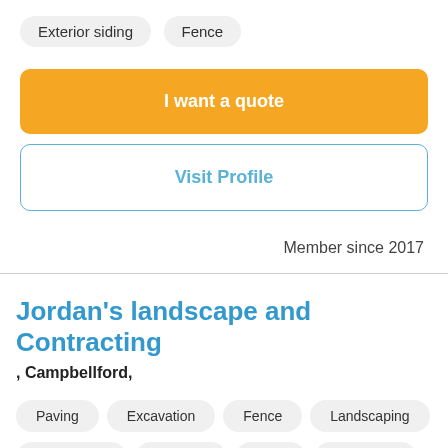Exterior siding
Fence
I want a quote
Visit Profile
Member since 2017
Jordan's landscape and Contracting
, Campbellford,
Paving
Excavation
Fence
Landscaping